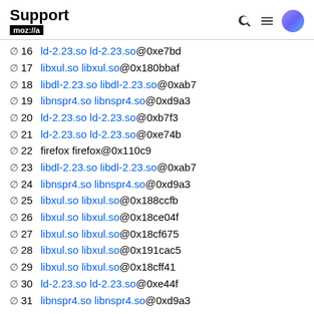Support mozilla//a
∅ 16 ld-2.23.so ld-2.23.so@0xe7bd
∅ 17 libxul.so libxul.so@0x180bbaf
∅ 18 libdl-2.23.so libdl-2.23.so@0xab7
∅ 19 libnspr4.so libnspr4.so@0xd9a3
∅ 20 ld-2.23.so ld-2.23.so@0xb7f3
∅ 21 ld-2.23.so ld-2.23.so@0xe74b
∅ 22 firefox firefox@0x110c9
∅ 23 libdl-2.23.so libdl-2.23.so@0xab7
∅ 24 libnspr4.so libnspr4.so@0xd9a3
∅ 25 libxul.so libxul.so@0x188ccfb
∅ 26 libxul.so libxul.so@0x18ce04f
∅ 27 libxul.so libxul.so@0x18cf675
∅ 28 libxul.so libxul.so@0x191cac5
∅ 29 libxul.so libxul.so@0x18cff41
∅ 30 ld-2.23.so ld-2.23.so@0xe44f
∅ 31 libnspr4.so libnspr4.so@0xd9a3